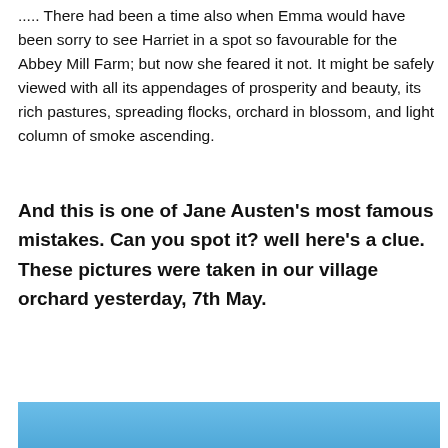..... There had been a time also when Emma would have been sorry to see Harriet in a spot so favourable for the Abbey Mill Farm; but now she feared it not. It might be safely viewed with all its appendages of prosperity and beauty, its rich pastures, spreading flocks, orchard in blossom, and light column of smoke ascending.
And this is one of Jane Austen's most famous mistakes. Can you spot it? well here's a clue. These pictures were taken in our village orchard yesterday, 7th May.
[Figure (photo): Partial view of a blue sky with tree tops visible at the bottom, taken in a village orchard]